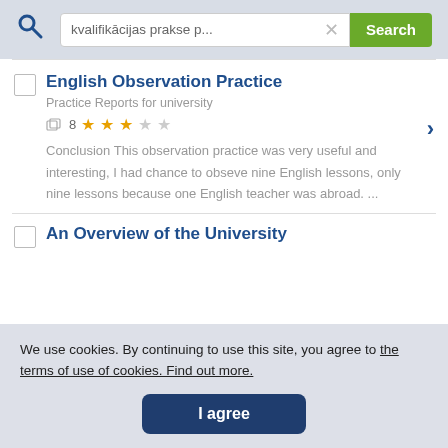[Figure (screenshot): Search bar with query 'kvalifikācijas prakse p...' and green Search button]
English Observation Practice
Practice Reports for university
8 ★★★☆☆
Conclusion This observation practice was very useful and interesting, I had chance to obseve nine English lessons, only nine lessons because one English teacher was abroad. ...
An Overview of the University
We use cookies. By continuing to use this site, you agree to the terms of use of cookies. Find out more.
I agree